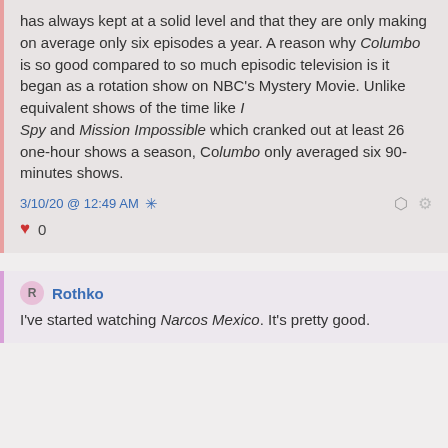has always kept at a solid level and that they are only making on average only six episodes a year. A reason why Columbo is so good compared to so much episodic television is it began as a rotation show on NBC's Mystery Movie. Unlike equivalent shows of the time like I Spy and Mission Impossible which cranked out at least 26 one-hour shows a season, Columbo only averaged six 90-minutes shows.
3/10/20 @ 12:49 AM *
❤ 0
R Rothko
I've started watching Narcos Mexico.  It's pretty good.